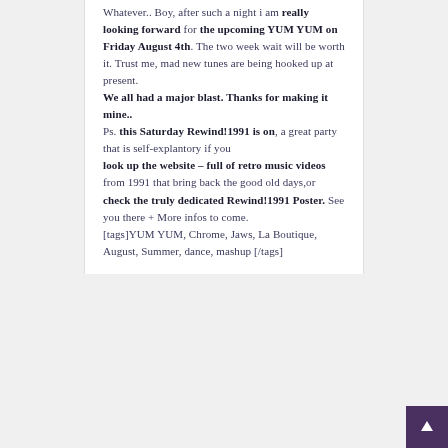Whatever.. Boy, after such a night i am really looking forward for the upcoming YUM YUM on Friday August 4th. The two week wait will be worth it. Trust me, mad new tunes are being hooked up at present. We all had a major blast. Thanks for making it mine.. Ps. this Saturday Rewind!1991 is on, a great party that is self-explantory if you look up the website – full of retro music videos from 1991 that bring back the good old days,or check the truly dedicated Rewind!1991 Poster. See you there + More infos to come. [tags]YUM YUM, Chrome, Jaws, La Boutique, August, Summer, dance, mashup [/tags]